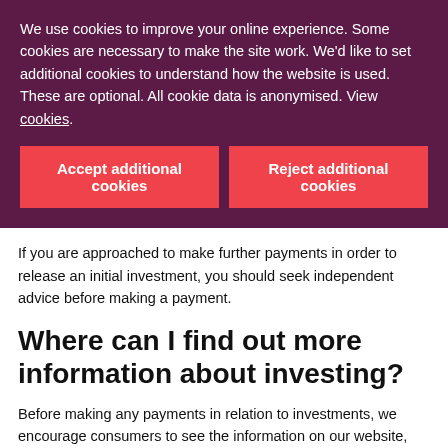We use cookies to improve your online experience. Some cookies are necessary to make the site work. We'd like to set additional cookies to understand how the website is used. These are optional. All cookie data is anonymised. View cookies.
Accept additional cookies
Reject additional cookies
If you are approached to make further payments in order to release an initial investment, you should seek independent advice before making a payment.
Where can I find out more information about investing?
Before making any payments in relation to investments, we encourage consumers to see the information on our website, including our ScamSmart pages. In particular, customers should see our information on recovery room scams.